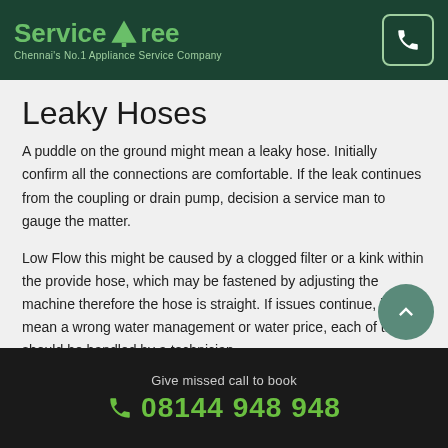ServiceTree — Chennai's No.1 Appliance Service Company
Leaky Hoses
A puddle on the ground might mean a leaky hose. Initially confirm all the connections are comfortable. If the leak continues from the coupling or drain pump, decision a service man to gauge the matter.
Low Flow this might be caused by a clogged filter or a kink within the provide hose, which may be fastened by adjusting the machine therefore the hose is straight. If issues continue, it might mean a wrong water management or water price, each of that should be handled by a technician.
Won't Spin
This might be a drag with the lid switch, motor coupling, drive belt, or
Give missed call to book 08144 948 948